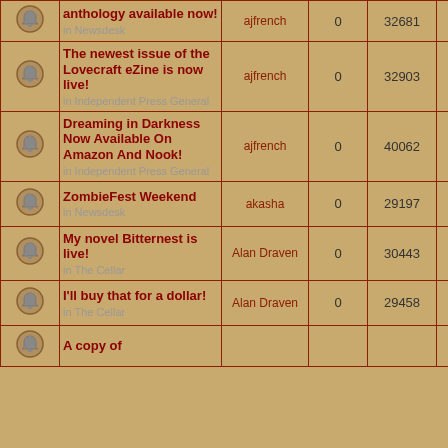|  | Topic | Author | Replies | Views | Last Post |
| --- | --- | --- | --- | --- | --- |
| [icon] | anthology available now!
in Newsdesk | ajfrench | 0 | 32681 | 1:46 pm
ajfrench |
| [icon] | The newest issue of the Lovecraft eZine is now live!
in Independent Press General | ajfrench | 0 | 32903 | Wed Dec 21, 2
1:45 am
ajfrench |
| [icon] | Dreaming in Darkness Now Available On Amazon And Nook!
in Independent Press General | ajfrench | 0 | 40062 | Mon Jul 22, 20
11:50 am
ajfrench |
| [icon] | ZombieFest Weekend
in Newsdesk | akasha | 0 | 29197 | Tue Aug 21, 20
9:31 pm
akasha |
| [icon] | My novel Bitternest is live!
in The Cellar | Alan Draven | 0 | 30443 | Thu Apr 26, 20
9:12 pm
Alan Draven |
| [icon] | I'll buy that for a dollar!
in The Cellar | Alan Draven | 0 | 29458 | Sat Jul 28, 20
11:39 am
Alan Draven |
| [icon] | A copy of |  |  |  |  |